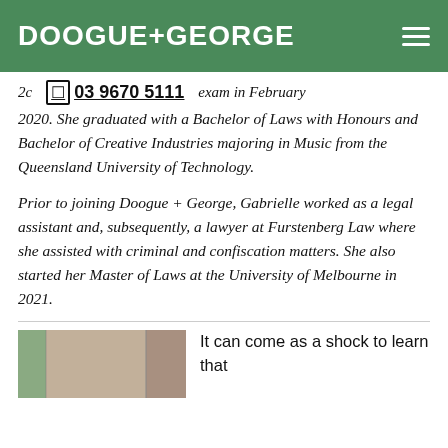DOOGUE+GEORGE
20... exam in February 2020. She graduated with a Bachelor of Laws with Honours and Bachelor of Creative Industries majoring in Music from the Queensland University of Technology.
Prior to joining Doogue + George, Gabrielle worked as a legal assistant and, subsequently, a lawyer at Furstenberg Law where she assisted with criminal and confiscation matters. She also started her Master of Laws at the University of Melbourne in 2021.
[Figure (photo): Photo of a room interior showing walls and door]
It can come as a shock to learn that